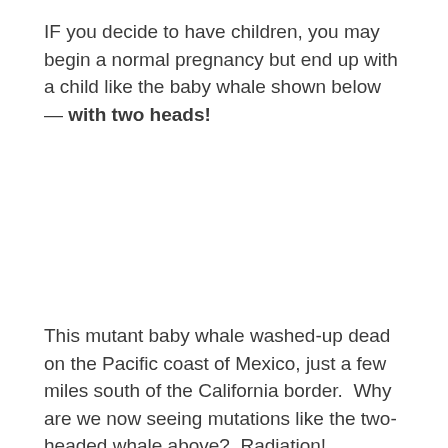IF you decide to have children, you may begin a normal pregnancy but end up with a child like the baby whale shown below — with two heads!
[Figure (photo): Empty white space where an image of a two-headed baby whale would appear (image not loaded/visible in source).]
This mutant baby whale washed-up dead on the Pacific coast of Mexico, just a few miles south of the California border. Why are we now seeing mutations like the two-headed whale above? Radiation!